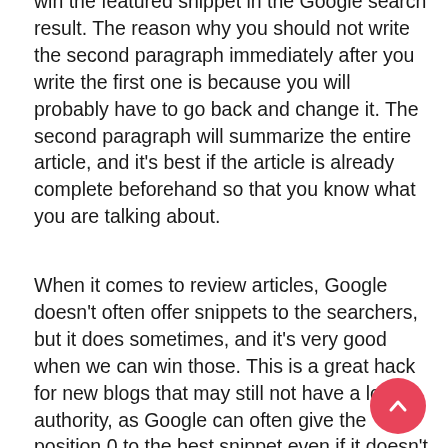win the featured snippet in the Google search result. The reason why you should not write the second paragraph immediately after you write the first one is because you will probably have to go back and change it. The second paragraph will summarize the entire article, and it's best if the article is already complete beforehand so that you know what you are talking about.
When it comes to review articles, Google doesn't often offer snippets to the searchers, but it does sometimes, and it's very good when we can win those. This is a great hack for new blogs that may still not have a lot of authority, as Google can often give the position 0 to the best snippet even if it doesn't come from the most authoritative